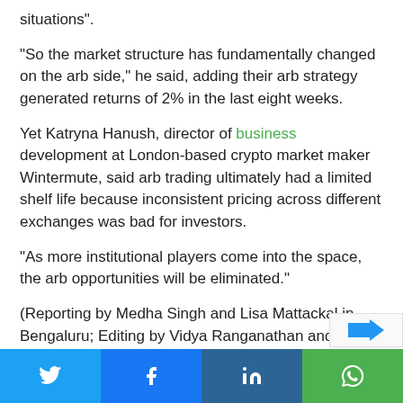situations".
"So the market structure has fundamentally changed on the arb side," he said, adding their arb strategy generated returns of 2% in the last eight weeks.
Yet Katryna Hanush, director of business development at London-based crypto market maker Wintermute, said arb trading ultimately had a limited shelf life because inconsistent pricing across different exchanges was bad for investors.
"As more institutional players come into the space, the arb opportunities will be eliminated."
(Reporting by Medha Singh and Lisa Mattackal in Bengaluru; Editing by Vidya Ranganathan and Pravin Char)